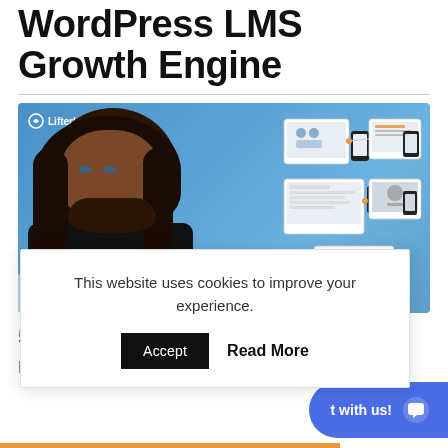WordPress LMS Growth Engine
[Figure (illustration): LifterLMS promotional image showing a man with long dark hair and beard against a blue background with device mockups (laptops, tablets, phones) showing LMS screenshots]
5 secrets to create, launch, and scale
ng
This website uses cookies to improve your experience.
Accept  Read More
t with us!